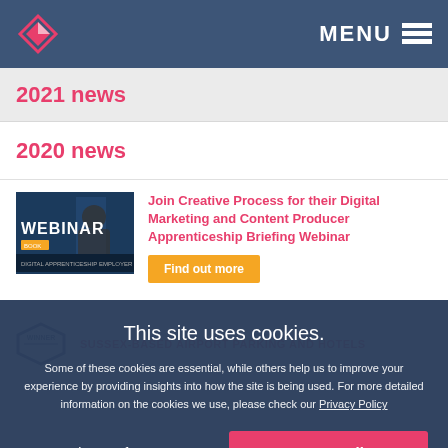MENU
2021 news
2020 news
[Figure (screenshot): Webinar thumbnail image with dark blue background and the word WEBINAR in large white text]
Join Creative Process for their Digital Marketing and Content Producer Apprenticeship Briefing Webinar
Find out more
[Figure (logo): Winner badge/seal circular logo in dark blue]
SUSSEX-BASED AIRPORT PARKING AND HOTELS
This site uses cookies.
Some of these cookies are essential, while others help us to improve your experience by providing insights into how the site is being used. For more detailed information on the cookies we use, please check our Privacy Policy
Select preferences
Accept all